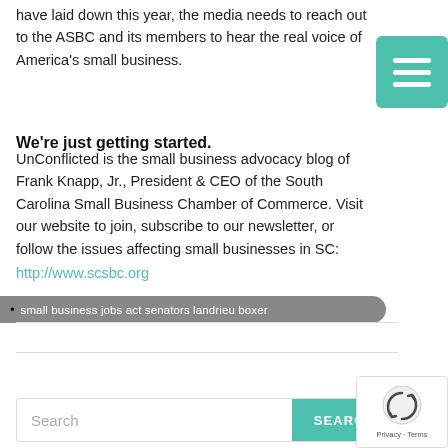have laid down this year, the media needs to reach out to the ASBC and its members to hear the real voice of America's small business.
[Figure (illustration): Teal/green menu icon button with three horizontal white lines on a rounded square background]
We're just getting started.
UnConflicted is the small business advocacy blog of Frank Knapp, Jr., President & CEO of the South Carolina Small Business Chamber of Commerce. Visit our website to join, subscribe to our newsletter, or follow the issues affecting small businesses in SC: http://www.scsbc.org
small business jobs act senators landrieu boxer
[Figure (logo): reCAPTCHA logo with privacy and terms text]